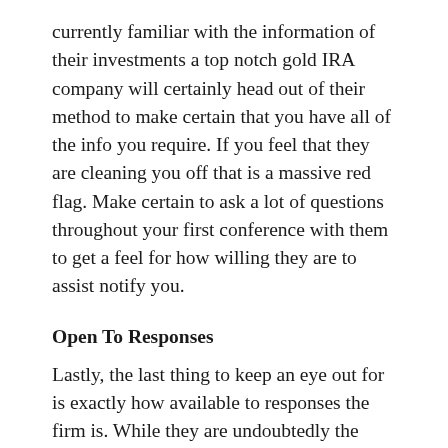currently familiar with the information of their investments a top notch gold IRA company will certainly head out of their method to make certain that you have all of the info you require. If you feel that they are cleaning you off that is a massive red flag. Make certain to ask a lot of questions throughout your first conference with them to get a feel for how willing they are to assist notify you.
Open To Responses
Lastly, the last thing to keep an eye out for is exactly how available to responses the firm is. While they are undoubtedly the specialists and also there is a good chance that they have a better understanding of the market than you do inevitably nobody is ideal. If they are unwilling to even hear your responses that is another substantial warning. However, if they are open to review any kind of feedback you have you need to